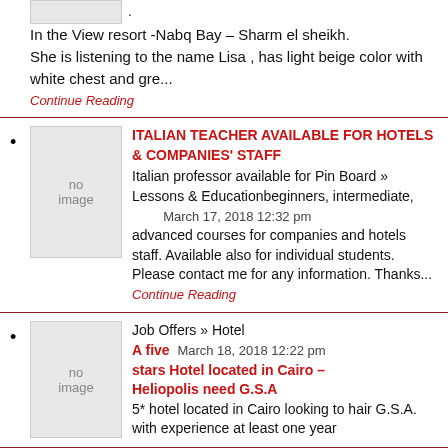In the View resort -Nabq Bay – Sharm el sheikh.
She is listening to the name Lisa , has light beige color with white chest and gre...
Continue Reading
ITALIAN TEACHER AVAILABLE FOR HOTELS & COMPANIES' STAFF
Italian professor available for Pin Board » Lessons & Educationbeginners, intermediate, March 17, 2018 12:32 pm advanced courses for companies and hotels staff. Available also for individual students. Please contact me for any information. Thanks... Continue Reading
Job Offers » Hotel
A five March 18, 2018 12:22 pm stars Hotel located in Cairo – Heliopolis need G.S.A
5* hotel located in Cairo looking to hair G.S.A. with experience at least one year
Sales Board » Others
Glow March 18, 2018 12:53 pm